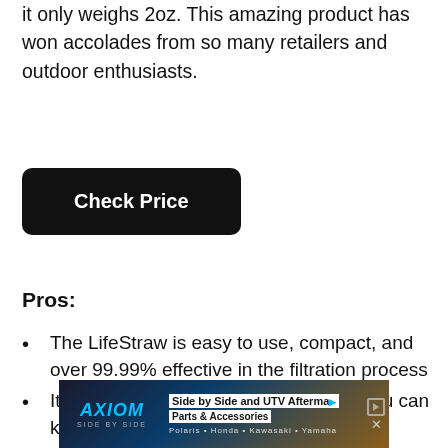it only weighs 2oz. This amazing product has won accolades from so many retailers and outdoor enthusiasts.
[Figure (other): Black rounded rectangle button with white bold text reading 'Check Price']
Pros:
The LifeStraw is easy to use, compact, and over 99.99% effective in the filtration process
It comes with a carrying case so that you can keep it clean when it is not in use
It can filter 1000 liters of contaminated water
The LifeStraw is recognized as one of the best
[Figure (advertisement): Axiom Side by Side and UTV Aftermarket Parts & Accessories advertisement banner. Brands: Polaris, Honda, Kawasaki, Yamaha]